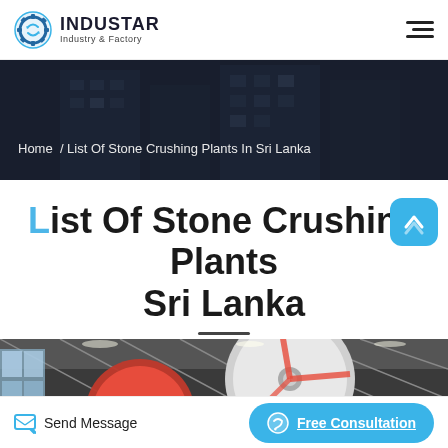INDUSTAR Industry & Factory
Home / List Of Stone Crushing Plants In Sri Lanka
List Of Stone Crushing Plants In Sri Lanka
[Figure (photo): Industrial factory interior showing large red and white industrial machinery (stone crushing equipment) inside a large warehouse with natural light from windows]
Send Message
Free Consultation